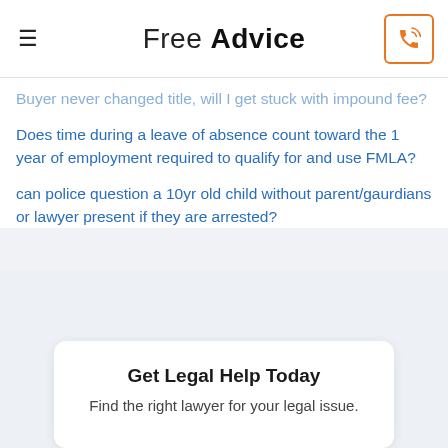Free Advice
Buyer never changed title, will I get stuck with impound fee?
Does time during a leave of absence count toward the 1 year of employment required to qualify for and use FMLA?
can police question a 10yr old child without parent/gaurdians or lawyer present if they are arrested?
Get Legal Help Today
Find the right lawyer for your legal issue.